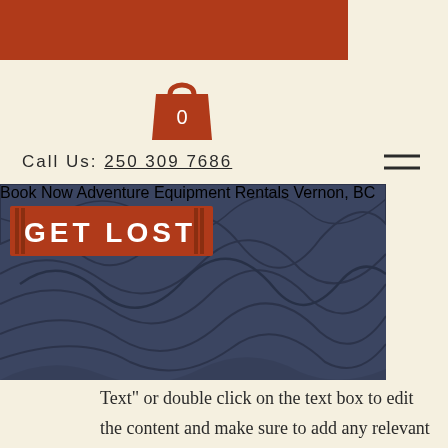you
[Figure (illustration): Orange shopping bag icon with number 0 inside, on cream background]
Call Us: 250 309 7686
[Figure (illustration): GET LOST Adventure Equipment Rentals Vernon BC hero banner with dark blue textured background and Book Now button]
Text" or double click on the text box to edit the content and make sure to add any relevant information that you want to share with your visitors.